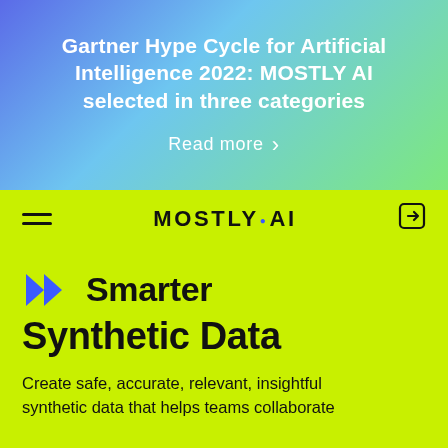Gartner Hype Cycle for Artificial Intelligence 2022: MOSTLY AI selected in three categories
Read more ›
[Figure (logo): MOSTLY AI logo and navigation bar with hamburger menu and login icon on bright lime green background]
Smarter Synthetic Data
Create safe, accurate, relevant, insightful synthetic data that helps teams collaborate